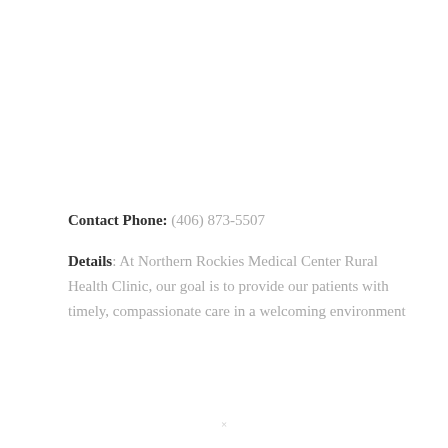Contact Phone: (406) 873-5507
Details: At Northern Rockies Medical Center Rural Health Clinic, our goal is to provide our patients with timely, compassionate care in a welcoming environment